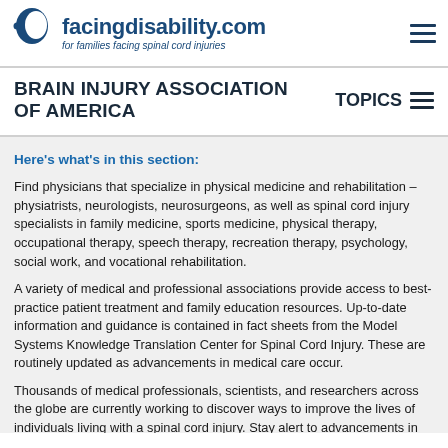facingdisability.com — for families facing spinal cord injuries
BRAIN INJURY ASSOCIATION OF AMERICA
Here's what's in this section:
Find physicians that specialize in physical medicine and rehabilitation – physiatrists, neurologists, neurosurgeons, as well as spinal cord injury specialists in family medicine, sports medicine, physical therapy, occupational therapy, speech therapy, recreation therapy, psychology, social work, and vocational rehabilitation.
A variety of medical and professional associations provide access to best-practice patient treatment and family education resources. Up-to-date information and guidance is contained in fact sheets from the Model Systems Knowledge Translation Center for Spinal Cord Injury. These are routinely updated as advancements in medical care occur.
Thousands of medical professionals, scientists, and researchers across the globe are currently working to discover ways to improve the lives of individuals living with a spinal cord injury. Stay alert to advancements in research, treatment, education, and medical care by connecting with a research registry to